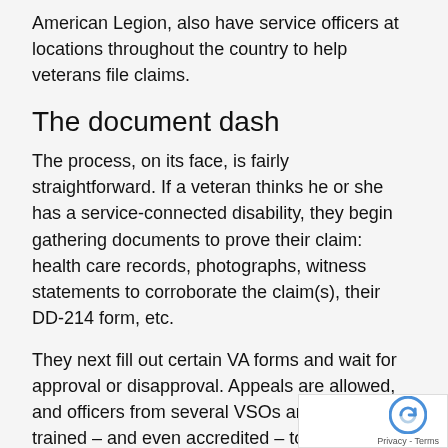American Legion, also have service officers at locations throughout the country to help veterans file claims.
The document dash
The process, on its face, is fairly straightforward. If a veteran thinks he or she has a service-connected disability, they begin gathering documents to prove their claim: health care records, photographs, witness statements to corroborate the claim(s), their DD-214 form, etc.
They next fill out certain VA forms and wait for approval or disapproval. Appeals are allowed, and officers from several VSOs are usually trained – and even accredited – to help in the process. AMVETS, a VSO that began in 1944 to help World War II veterans navigate government benefits, is among them.